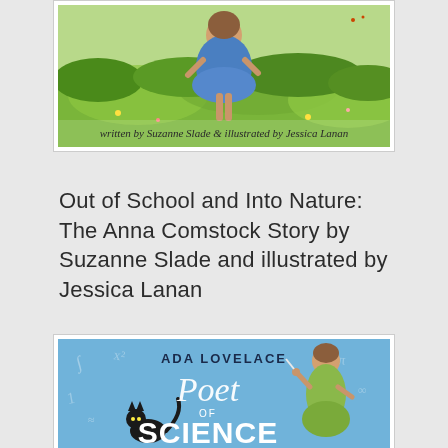[Figure (illustration): Book cover bottom portion: Out of School and Into Nature: The Anna Comstock Story by Suzanne Slade and illustrated by Jessica Lanan. Shows a girl in a blue dress in a green nature scene. Text reads 'written by Suzanne Slade & illustrated by Jessica Lanan'.]
Out of School and Into Nature:  The Anna Comstock Story by Suzanne Slade and illustrated by Jessica Lanan
[Figure (illustration): Book cover for Ada Lovelace: Poet of Science. Blue background with a woman in a green dress, a black cat, and mathematical symbols. Large text reads 'ADA LOVELACE Poet of SCIENCE'.]